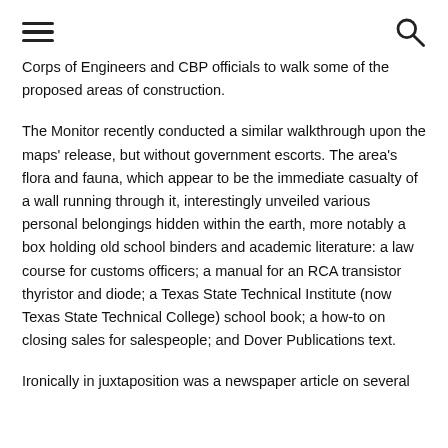[hamburger menu] [search icon]
Corps of Engineers and CBP officials to walk some of the proposed areas of construction.
The Monitor recently conducted a similar walkthrough upon the maps' release, but without government escorts. The area's flora and fauna, which appear to be the immediate casualty of a wall running through it, interestingly unveiled various personal belongings hidden within the earth, more notably a box holding old school binders and academic literature: a law course for customs officers; a manual for an RCA transistor thyristor and diode; a Texas State Technical Institute (now Texas State Technical College) school book; a how-to on closing sales for salespeople; and Dover Publications text.
Ironically in juxtaposition was a newspaper article on several